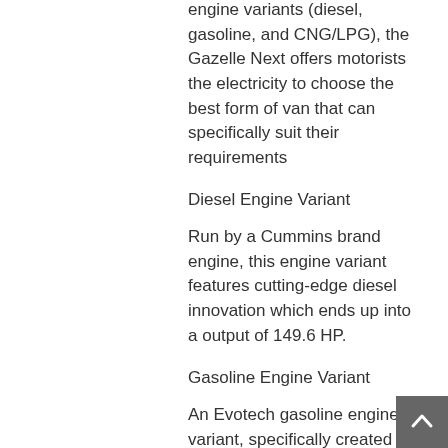engine variants (diesel, gasoline, and CNG/LPG), the Gazelle Next offers motorists the electricity to choose the best form of van that can specifically suit their requirements
Diesel Engine Variant
Run by a Cummins brand engine, this engine variant features cutting-edge diesel innovation which ends up into a output of 149.6 HP.
Gasoline Engine Variant
An Evotech gasoline engine variant, specifically created